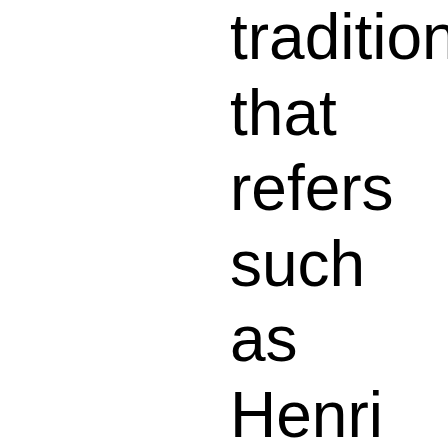tradition that refers such as Henri Matis Monet, Henri Rouss Bruegel the Elder. N life are also importa inspiration for Sleds scale canvases see simple due to the na language and very n